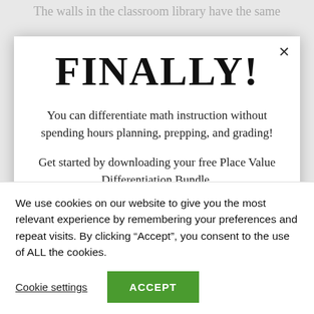The walls in the classroom library have the same
FINALLY!
You can differentiate math instruction without spending hours planning, prepping, and grading!
Get started by downloading your free Place Value Differentiation Bundle.
We use cookies on our website to give you the most relevant experience by remembering your preferences and repeat visits. By clicking “Accept”, you consent to the use of ALL the cookies.
Cookie settings
ACCEPT